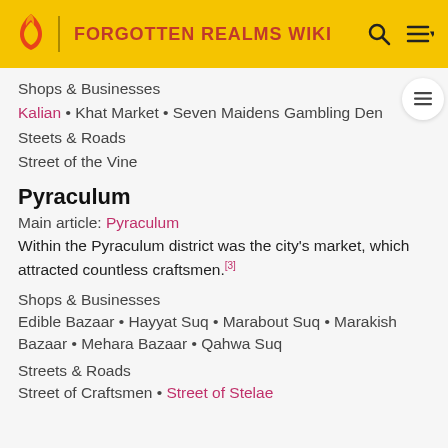FORGOTTEN REALMS WIKI
Shops & Businesses
Kalian • Khat Market • Seven Maidens Gambling Den
Steets & Roads
Street of the Vine
Pyraculum
Main article: Pyraculum
Within the Pyraculum district was the city's market, which attracted countless craftsmen.[3]
Shops & Businesses
Edible Bazaar • Hayyat Suq • Marabout Suq • Marakish Bazaar • Mehara Bazaar • Qahwa Suq
Streets & Roads
Street of Craftsmen • Street of Stelae